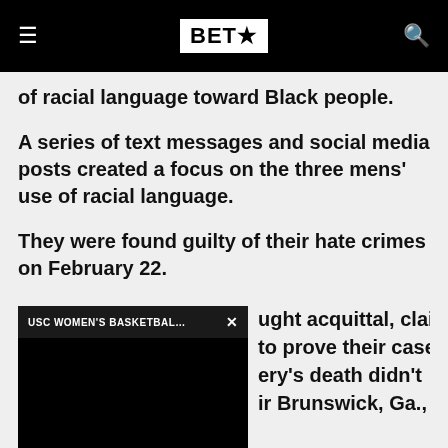BET★
of racial language toward Black people.
A series of text messages and social media posts created a focus on the three mens' use of racial language.
They were found guilty of their hate crimes on February 22.
[Figure (screenshot): Video player overlay widget with title 'USC WOMEN'S BASKETBALL...' and a close button X, with black video content area]
ught acquittal, claiming to prove their case, ery's death didn't ir Brunswick, Ga.,